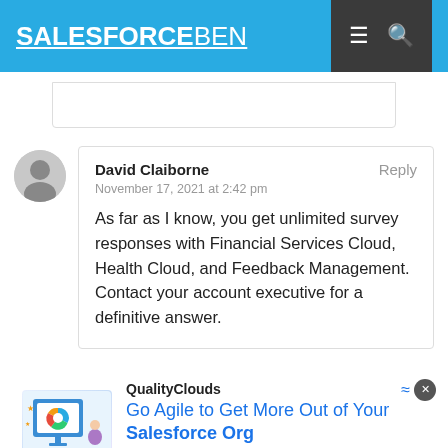SALESFORCEBEN
David Claiborne
November 17, 2021 at 2:42 pm
As far as I know, you get unlimited survey responses with Financial Services Cloud, Health Cloud, and Feedback Management. Contact your account executive for a definitive answer.
[Figure (infographic): QualityClouds advertisement: Go Agile to Get More Out of Your Salesforce Org, with a LEARN HOW button and illustrated graphic]